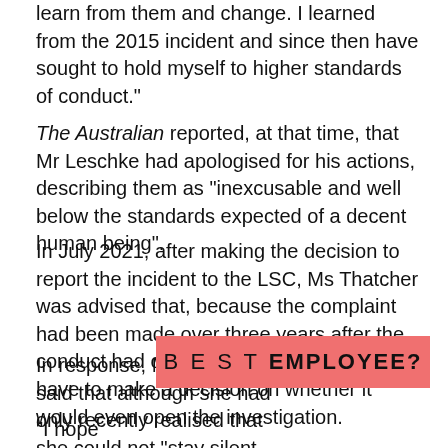learn from them and change. I learned from the 2015 incident and since then have sought to hold myself to higher standards of conduct."
The Australian reported, at that time, that Mr Leschke had apologised for his actions, describing them as "inexcusable and well below the standards expected of a decent human being".
In July 2021, after making the decision to report the incident to the LSC, Ms Thatcher was advised that, because the complaint had been made over three years after the conduct had occurred, the LSC would first have to make a decision on whether it would even open the investigation.
In response, Ms Thatcher said that although she had only recently realised that she could not “stay silent about what Tim did anymore”, she now had to contend with time limits.
[Figure (other): Pink/red banner overlay with text 'BEST EMPLOYEE?' in spaced letters]
"I hope